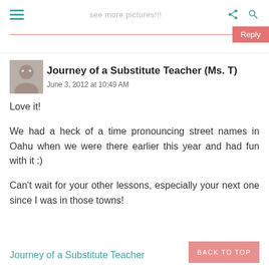see more pictures!!!
Journey of a Substitute Teacher (Ms. T)
June 3, 2012 at 10:49 AM
Love it!

We had a heck of a time pronouncing street names in Oahu when we were there earlier this year and had fun with it :)

Can't wait for your other lessons, especially your next one since I was in those towns!
Journey of a Substitute Teacher